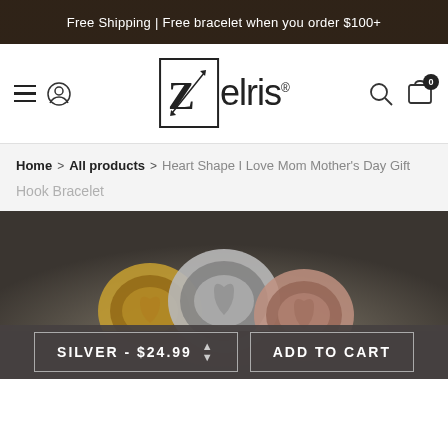Free Shipping | Free bracelet when you order $100+
[Figure (logo): Zelris brand logo with Z in a box followed by 'elris' text and registered trademark symbol]
Home > All products > Heart Shape I Love Mom Mother's Day Gift
Hook Bracelet
[Figure (photo): Three heart-shaped hook bracelets in gold, silver, and rose gold colors arranged together]
SILVER - $24.99
ADD TO CART